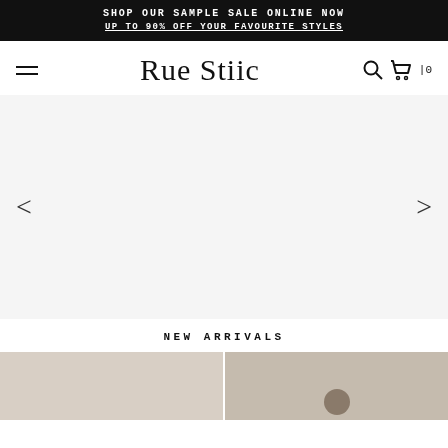SHOP OUR SAMPLE SALE ONLINE NOW
UP TO 90% OFF YOUR FAVOURITE STYLES
Rue Stiic
[Figure (other): Navigation bar with hamburger menu icon on left, Rue Stiic logo in center, search and cart icons on right]
[Figure (other): Carousel slider area with left and right navigation arrows, mostly empty white/light gray center area]
NEW ARRIVALS
[Figure (photo): Two product thumbnail images side by side at bottom, left one plain warm beige, right one showing a partial figure/model]